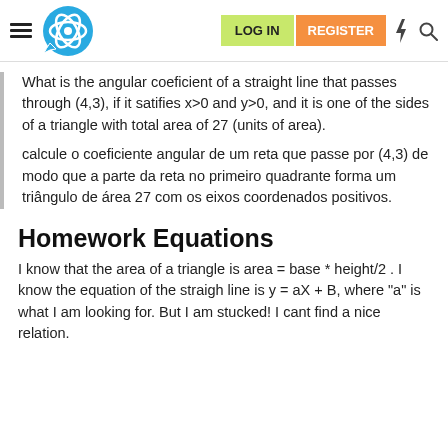LOG IN  REGISTER
What is the angular coeficient of a straight line that passes through (4,3), if it satifies x>0 and y>0, and it is one of the sides of a triangle with total area of 27 (units of area).
calcule o coeficiente angular de um reta que passe por (4,3) de modo que a parte da reta no primeiro quadrante forma um triângulo de área 27 com os eixos coordenados positivos.
Homework Equations
I know that the area of a triangle is area = base * height/2 . I know the equation of the straigh line is y = aX + B, where "a" is what I am looking for. But I am stucked! I cant find a nice relation.